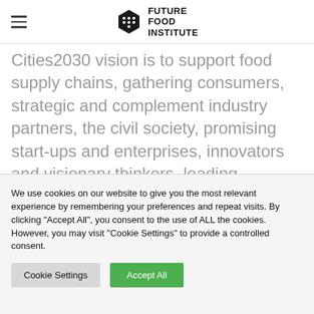Future Food Institute
Cities2030 vision is to support food supply chains, gathering consumers, strategic and complement industry partners, the civil society, promising start-ups and enterprises, innovators and visionary thinkers, leading universities and research across the vast diversity of disciplines addressing CRFS, including food science, social science and big data.
We use cookies on our website to give you the most relevant experience by remembering your preferences and repeat visits. By clicking "Accept All", you consent to the use of ALL the cookies. However, you may visit "Cookie Settings" to provide a controlled consent.